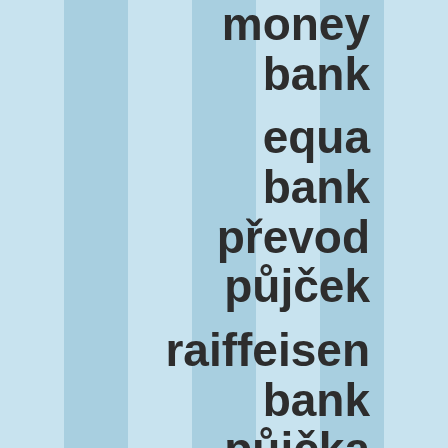money bank
equa bank převod půjček
raiffeisen bank půjčka
air bank konsolidace půjček